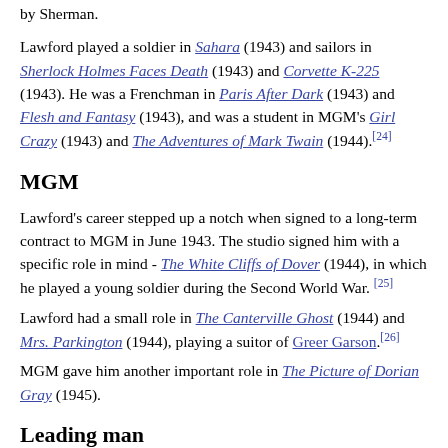by Sherman.
Lawford played a soldier in Sahara (1943) and sailors in Sherlock Holmes Faces Death (1943) and Corvette K-225 (1943). He was a Frenchman in Paris After Dark (1943) and Flesh and Fantasy (1943), and was a student in MGM's Girl Crazy (1943) and The Adventures of Mark Twain (1944).[24]
MGM
Lawford's career stepped up a notch when signed to a long-term contract to MGM in June 1943. The studio signed him with a specific role in mind - The White Cliffs of Dover (1944), in which he played a young soldier during the Second World War.[25]
Lawford had a small role in The Canterville Ghost (1944) and Mrs. Parkington (1944), playing a suitor of Greer Garson.[26]
MGM gave him another important role in The Picture of Dorian Gray (1945).
Leading man
[Figure (photo): Partial image of a person, likely a portrait photo, at the bottom of the page.]